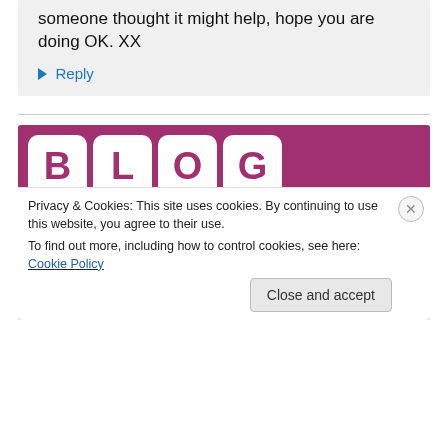someone thought it might help, hope you are doing OK. XX
↳ Reply
[Figure (logo): Blog North logo — the words BLOG and NORTH spelled out in Scrabble-tile-style white rounded square tiles on a mauve/purple background.]
Privacy & Cookies: This site uses cookies. By continuing to use this website, you agree to their use.
To find out more, including how to control cookies, see here: Cookie Policy
Close and accept